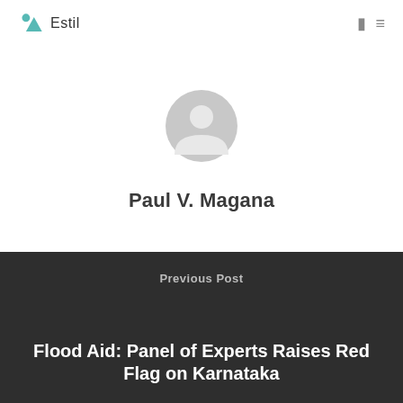Estil
[Figure (illustration): Generic user avatar placeholder — grey circle with a person silhouette icon]
Paul V. Magana
Previous Post
Flood Aid: Panel of Experts Raises Red Flag on Karnataka